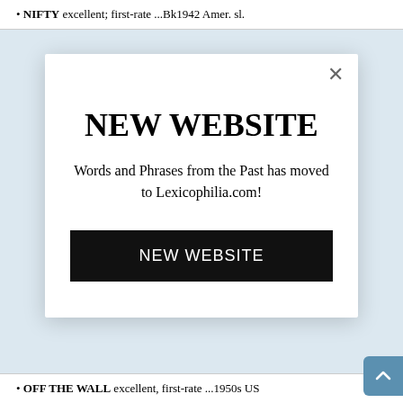NIFTY excellent; first-rate ...Bk1942 Amer. sl.
NEW WEBSITE
Words and Phrases from the Past has moved to Lexicophilia.com!
NEW WEBSITE
OFF THE WALL excellent, first-rate ...1950s US